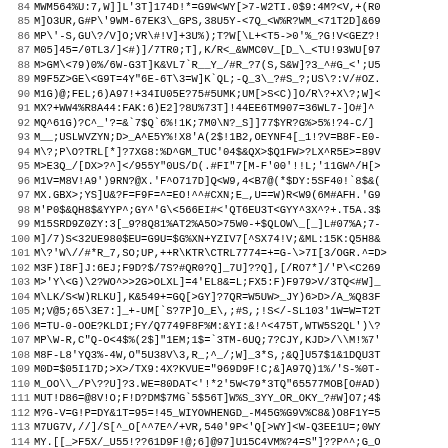84 MWM564%U:7,W]]L'3T]174D!*=G9W<WY[>7-W2TI.0$9:4M?<V,+(R0
85 M]O3UR,G#P\'9WM-67EK3\_GPS,38U5Y-<7Q_<W%R?WM_<71T2D]&69
86 MP\'-S,GU\?/V]O;VR\#!V]+3U%);T?W[\L+<T5->0'%_?G!V<GEZ?!
87 M05]45=/0TL3/]<#)]/7TR0;T],K/R<_&WMC0V_[D_\_<TU!93WU[97
88 M>GM\<79)0%/6W-G3T]K&VL7`R__Y_/#R_?7(S,S&W]?3_^#G_<';U5
89 M9F5Z>GE\<G9T=4Y"6E-6T\3=W]K`QL;-Q_3\_?#S_?;US\?:V/#OZ.
90 M1G)@;FEL;6)A97!+34IU05E?75#5UMK;UM[>S<C)]O/R\?+X\?;W]<
91 MX?+WW4%R8A44:FAK:6)E2]?8U%73T]!44EE6TM907=36WL7-]O#]^
92 MQ^61G)?C^_'?=&`7$Q`6%!1K;7M0\N?_S]]77$YR?G%>5%!?4-C/]
93 M__;USLWVZYN;D>_A^E5Y%!X8'A(2$!1B2,OEYNF4[_1!?V=B8F-E0-
94 M\?;P\O?TRL[*]?7XG8:%D^GM_TUC'04$&QX>$Q1FW>?LX^R5E>=89V
95 M>E3Q_/[DX>?^]</955Y"0US/D(.#FI"7[M-F'00'!!L;'11GW^/H[>
96 M1V=M8V!A9')9RN?@X.'F^O717D]Q<W9,4<B7@(*$DY:5SF40!`8$&(
97 MX.GBX>;YS]U&?F=F9F=^=EO!^^#CXN;E_,U==W)R<W9(6M#AFH.'G9
98 M'P0$&QH8$&YYP^;GY^'G\<566EI#<'QT6EU3T<GYY^3X^?+.T5A.3$
99 M15SRD9Z0ZY:3[_9?8Q81%AT2%A5O>75W0-+$QLOW\_[_]L#07%A;7-
100 M]/7)S<32UE980$EU=G9U=$G%XN+YZIV7[^SX74!V;&ML:15K:Q5H8&
101 M\?'W\//#*R_7,SO;UP,++R\KTR\CTRL7774=+=G-\>7I[3/OGR.^=D>
102 M3F)I8F]J:6EJ;F9D?$/7S?#QR0?Q]_7U]??Q],[/RO7*]/'P\<C269
103 M>'Y\<G)\2?WO^>>2G>OLXL]=4'EL8&=L;FX5:F)F979>V/3TQ<#W]_
104 M\LK/S<W)RLKU],K&549+=GQ[>GY]?7QR=W5UW>_JY)6>D>/A_%Q83F
105 M;V@5;65\3E7:]_+-UM[`S?7P]O_E\,;#S,;!S</-SL103'1W=W=T2T
106 M=TU-0-OOE?KLDI;FY/Q7749F8F%M:&YI:&!^<475T,WTW5S2QL')\?
107 MP\W-R,C"Q-O<4$%(2$]"1EM;1$=`3TM-6UQ;7?CJY,KJD>/\\M!%7'
108 M8F-L8'YQ3%-4W,O"5U38V\3,R_;^_/;W]_3*S,;&Q]U57$1&1DQU3T
109 M0D=$05I17D;>X>/TX9:4X?KVUE="969D9F!C;&]A97Q)1%/'S-%0T-
110 M_OO\\_/P\??U]?3.WE=80DAT<'!*2'5W<79*3TQ"65577MOB[O#AD)
111 MUT!D86=@8V!O;F!D?DM$7MG`5$56T]W%S_3YY_OR_OKY_?#W]O7;4$
112 M?G-V=G!P=DY&1T=95=!45_WIYOWHENGD_-M45G%G9V%C8&)O8F1Y=5
113 M7UG7V,//]/S[^_O[^^7E^/+VR,540'9P<'Q[>WY]<W-Q3EE1U=;0WY
114 MY.[[_>F5X/_U55!??61D9F!@;6]@97]U15C4VM%?4=S"]??P^^;G_O
115 MR\#'UD9W<G)R?WA^<W=*3D]`7%%05M?0TM/7TOSLY_SLF>_F\_Y54